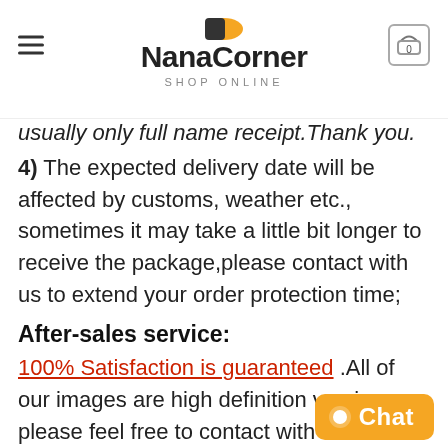NanaCorner SHOP ONLINE
usually only full name receipt.Thank you.
4) The expected delivery date will be affected by customs, weather etc., sometimes it may take a little bit longer to receive the package,please contact with us to extend your order protection time;
After-sales service:
100% Satisfaction is guaranteed .All of our images are high definition version , please feel free to contact with us if there is any quality issue , item not received etc., refund or replacement is acceptable.Please do not leave a negative feedback before the contact.